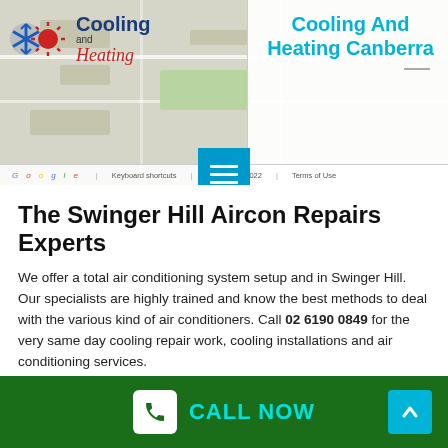[Figure (screenshot): Screenshot of Cooling and Heating Canberra website header with Google Maps background, showing logo on left and 'Cooling And Heating Canberra' heading in cyan on right white panel, with a blue hamburger menu button overlay and Google Maps attribution bar at bottom.]
The Swinger Hill Aircon Repairs Experts
We offer a total air conditioning system setup and in Swinger Hill. Our specialists are highly trained and know the best methods to deal with the various kind of air conditioners. Call 02 6190 0849 for the very same day cooling repair work, cooling installations and air conditioning services.
[Figure (infographic): Green footer bar with white phone icon box and 'CALL NOW' text in cyan, plus a cyan upward-arrow button on the right side.]